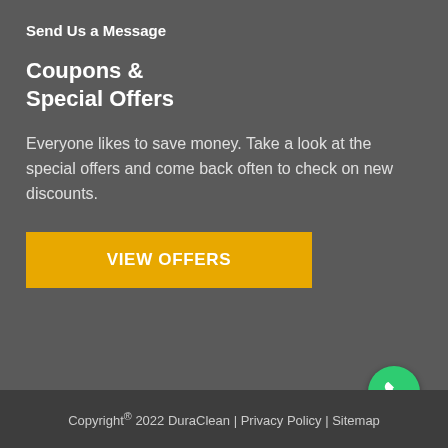Send Us a Message
Coupons & Special Offers
Everyone likes to save money. Take a look at the special offers and come back often to check on new discounts.
VIEW OFFERS
Copyright® 2022 DuraClean | Privacy Policy | Sitemap